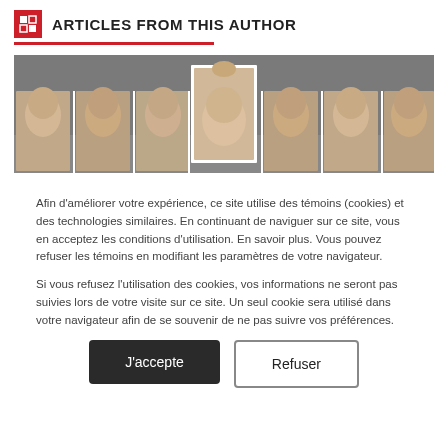ARTICLES FROM THIS AUTHOR
[Figure (photo): A banner photo showing seven portrait-style photos of a woman displaying different facial expressions, with the center image lifted up by a hand]
Afin d’améliorer votre expérience, ce site utilise des témoins (cookies) et des technologies similaires. En continuant de naviguer sur ce site, vous en acceptez les conditions d’utilisation. En savoir plus. Vous pouvez refuser les témoins en modifiant les paramètres de votre navigateur.
Si vous refusez l’utilisation des cookies, vos informations ne seront pas suivies lors de votre visite sur ce site. Un seul cookie sera utilisé dans votre navigateur afin de se souvenir de ne pas suivre vos préférences.
J’accepte
Refuser